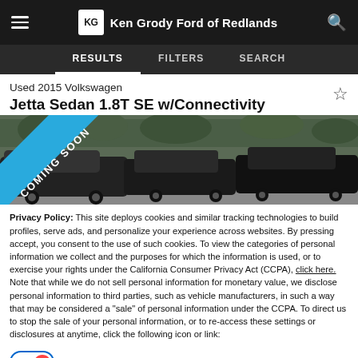Ken Grody Ford of Redlands
RESULTS   FILTERS   SEARCH
Used 2015 Volkswagen Jetta Sedan 1.8T SE w/Connectivity
[Figure (photo): Parking lot with multiple cars, with a blue diagonal 'COMING SOON' banner overlay in the top-left corner of the image.]
Privacy Policy: This site deploys cookies and similar tracking technologies to build profiles, serve ads, and personalize your experience across websites. By pressing accept, you consent to the use of such cookies. To view the categories of personal information we collect and the purposes for which the information is used, or to exercise your rights under the California Consumer Privacy Act (CCPA), click here. Note that while we do not sell personal information for monetary value, we disclose personal information to third parties, such as vehicle manufacturers, in such a way that may be considered a "sale" of personal information under the CCPA. To direct us to stop the sale of your personal information, or to re-access these settings or disclosures at anytime, click the following icon or link:
Do Not Sell My Personal Information
Language: English  Powered by ComplyAuto
Accept and Continue →   California Privacy Disclosures